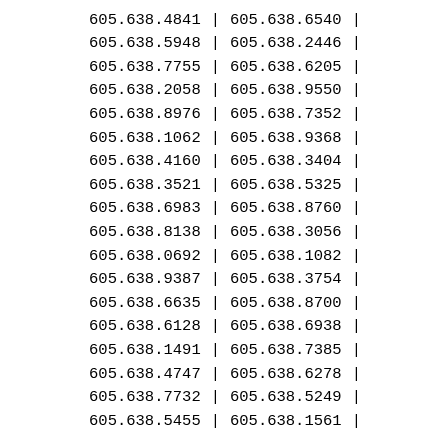| Col1 | Sep | Col2 | Sep2 |
| --- | --- | --- | --- |
| 605.638.4841 | | | 605.638.6540 | | |
| 605.638.5948 | | | 605.638.2446 | | |
| 605.638.7755 | | | 605.638.6205 | | |
| 605.638.2058 | | | 605.638.9550 | | |
| 605.638.8976 | | | 605.638.7352 | | |
| 605.638.1062 | | | 605.638.9368 | | |
| 605.638.4160 | | | 605.638.3404 | | |
| 605.638.3521 | | | 605.638.5325 | | |
| 605.638.6983 | | | 605.638.8760 | | |
| 605.638.8138 | | | 605.638.3056 | | |
| 605.638.0692 | | | 605.638.1082 | | |
| 605.638.9387 | | | 605.638.3754 | | |
| 605.638.6635 | | | 605.638.8700 | | |
| 605.638.6128 | | | 605.638.6938 | | |
| 605.638.1491 | | | 605.638.7385 | | |
| 605.638.4747 | | | 605.638.6278 | | |
| 605.638.7732 | | | 605.638.5249 | | |
| 605.638.5455 | | | 605.638.1561 | | |